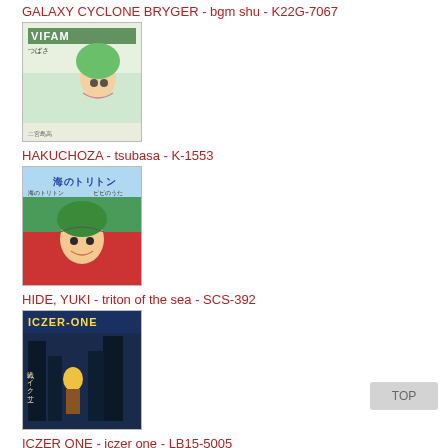GALAXY CYCLONE BRYGER - bgm shu - K22G-7067
[Figure (illustration): Anime album cover for Galaxy Cyclone Bryger showing a female anime character with green hair, labeled VIFAM with Japanese text]
HAKUCHOZA - tsubasa - K-1553
[Figure (illustration): Anime album cover showing a young male anime character with green hair wearing a red outfit, with Japanese text Triton]
HIDE, YUKI - triton of the sea - SCS-392
[Figure (illustration): Anime album cover for Iczer-One showing a character in a dark cityscape with Japanese text]
ICZER ONE - iczer one - LB15-5005
[Figure (illustration): Partial anime album cover showing red and pink colors, partially cut off at bottom of page]